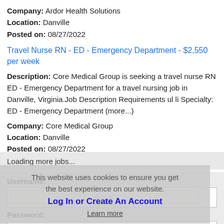Company: Ardor Health Solutions
Location: Danville
Posted on: 08/27/2022
Travel Nurse RN - ED - Emergency Department - $2,550 per week
Description: Core Medical Group is seeking a travel nurse RN ED - Emergency Department for a travel nursing job in Danville, Virginia.Job Description Requirements ul li Specialty: ED - Emergency Department (more...)
Company: Core Medical Group
Location: Danville
Posted on: 08/27/2022
Loading more jobs...
This website uses cookies to ensure you get the best experience on our website.
Log In or Create An Account
Learn more
Username:
Got It!
Password: